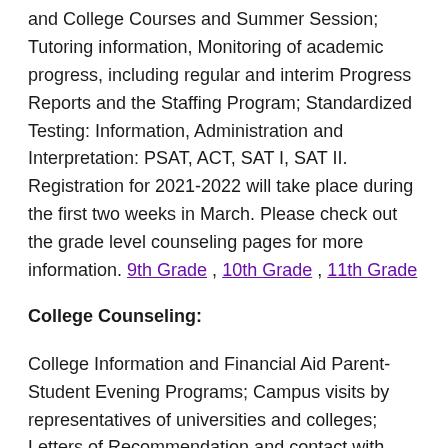and College Courses and Summer Session; Tutoring information, Monitoring of academic progress, including regular and interim Progress Reports and the Staffing Program; Standardized Testing: Information, Administration and Interpretation: PSAT, ACT, SAT I, SAT II. Registration for 2021-2022 will take place during the first two weeks in March. Please check out the grade level counseling pages for more information. 9th Grade , 10th Grade , 11th Grade
College Counseling:
College Information and Financial Aid Parent-Student Evening Programs; Campus visits by representatives of universities and colleges; Letters of Recommendation and contact with University representatives as appropriate.